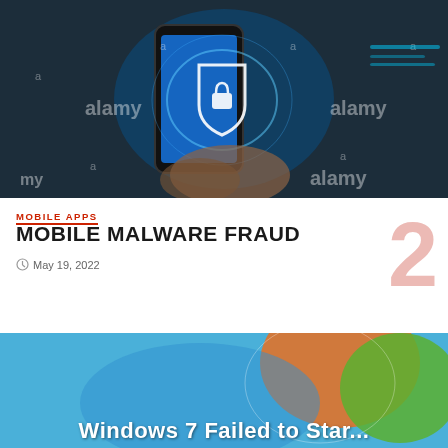[Figure (photo): Hand holding a smartphone displaying a blue shield with padlock icon, representing mobile security. Background shows digital code. Alamy watermark visible.]
MOBILE APPS
MOBILE MALWARE FRAUD
May 19, 2022
[Figure (photo): Windows 7 logo on blue background — partial view showing colorful Windows orb. Bottom text reads 'Windows 7 Failed to Start'.]